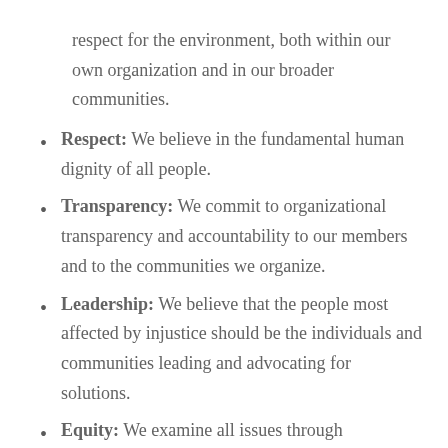respect for the environment, both within our own organization and in our broader communities.
Respect: We believe in the fundamental human dignity of all people.
Transparency: We commit to organizational transparency and accountability to our members and to the communities we organize.
Leadership: We believe that the people most affected by injustice should be the individuals and communities leading and advocating for solutions.
Equity: We examine all issues through perspectives of race, economic status, immigration status, and gender to promote equity and inclusion of all.